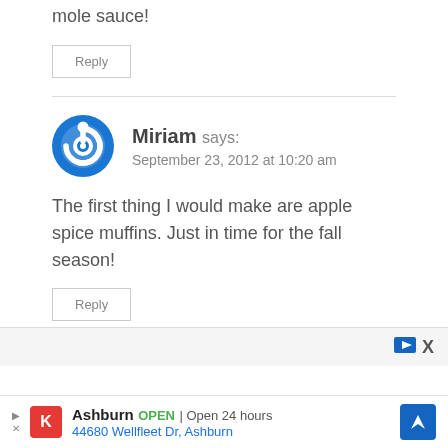mole sauce!
Reply
Miriam says: September 23, 2012 at 10:20 am
The first thing I would make are apple spice muffins. Just in time for the fall season!
Reply
Ashburn OPEN | Open 24 hours 44680 Wellfleet Dr, Ashburn